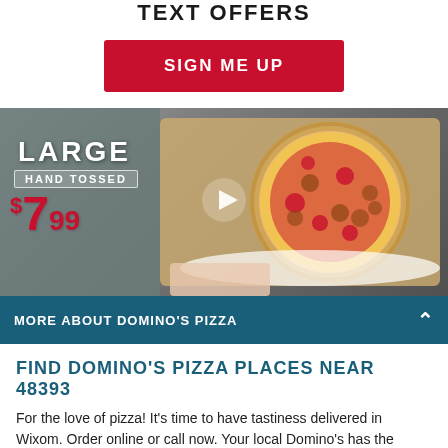TEXT OFFERS
SIGN ME UP
[Figure (photo): A large hand-tossed pizza in an open Domino's box, being held. Overlaid text reads: LARGE, HAND TOSSED, $7.99. A play button triangle is centered on the image.]
MORE ABOUT DOMINO'S PIZZA
FIND DOMINO'S PIZZA PLACES NEAR 48393
For the love of pizza! It's time to have tastiness delivered in Wixom. Order online or call now. Your local Domino's has the